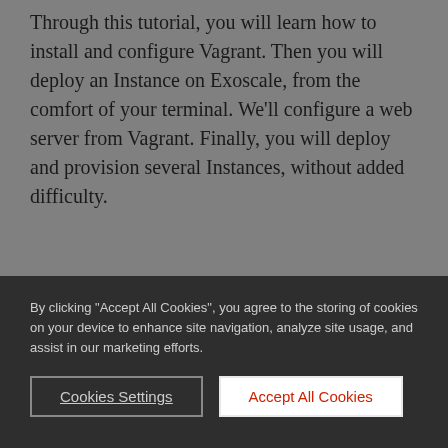Through this tutorial, you will learn how to install and configure Vagrant. Then you will deploy an Instance on Exoscale, from the comfort of your terminal. We'll configure a web server from Vagrant. Finally, you will deploy and provision several Instances, without added difficulty.
By clicking "Accept All Cookies", you agree to the storing of cookies on your device to enhance site navigation, analyze site usage, and assist in our marketing efforts.
Cookies Settings
Accept All Cookies